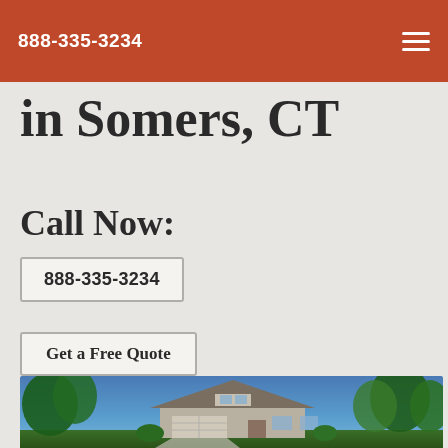888-335-3234
in Somers, CT
Call Now:
888-335-3234
Get a Free Quote
[Figure (photo): Suburban two-story house with garage, surrounded by green trees under a blue sky]